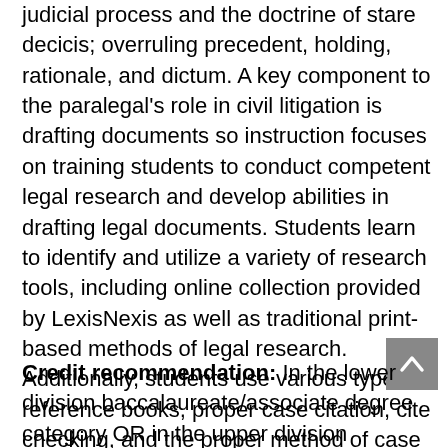judicial process and the doctrine of stare decicis; overruling precedent, holding, rationale, and dictum. A key component to the paralegal's role in civil litigation is drafting documents so instruction focuses on training students to conduct competent legal research and develop abilities in drafting legal documents. Students learn to identify and utilize a variety of research tools, including online collection provided by LexisNexis as well as traditional print-based methods of legal research. Additionally, students use various types of reference books, proper case citation, cite checking, and the proper method of case reporting, Shepardizing, methods of compiling legislative histories, and administrative legal research. Evaluation criteria include: required readings, essay assignments, class participation, and final exam.
Credit recommendation: In the lower division baccalaureate/associate degree category OR in the upper division baccalaureate degree category, 3